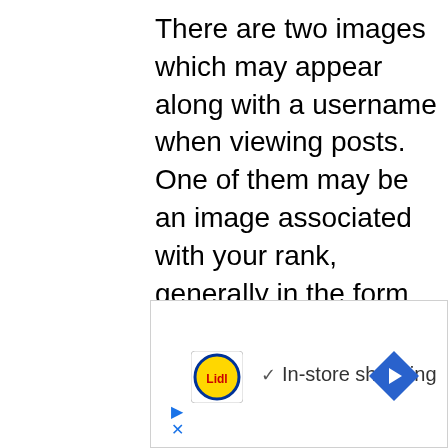There are two images which may appear along with a username when viewing posts. One of them may be an image associated with your rank, generally in the form of stars, blocks or dots, indicating how many posts you have made or your status on the board. Another, usually a larger image, is known as an avatar and is generally unique or personal to each user. It is up
[Figure (other): Advertisement banner for Lidl showing the Lidl logo (yellow circle with blue border and red Lidl text), a checkmark icon followed by 'In-store shopping' text, and a blue diamond-shaped navigation arrow icon on the right. Below are a play button icon and a close (X) icon in blue.]